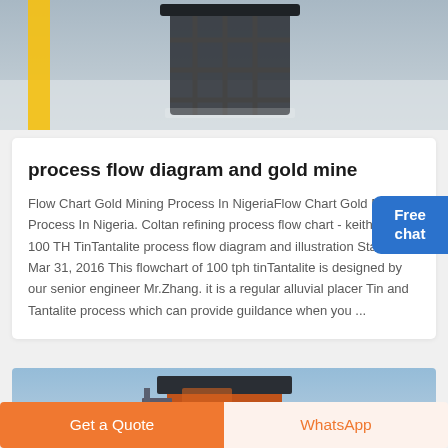[Figure (photo): Industrial mining equipment (dark metallic machine/cage structure) on white material, with yellow bar on the left side, partially visible at top of page.]
process flow diagram and gold mine
Flow Chart Gold Mining Process In NigeriaFlow Chart Gold Mining Process In Nigeria. Coltan refining process flow chart - keithkirsten. 100 TH TinTantalite process flow diagram and illustration Stanley Mar 31, 2016 This flowchart of 100 tph tinTantalite is designed by our senior engineer Mr.Zhang. it is a regular alluvial placer Tin and Tantalite process which can provide guildance when you ...
[Figure (photo): Industrial mining/processing equipment (orange/brown machine structure) against a light blue sky background, partially cropped.]